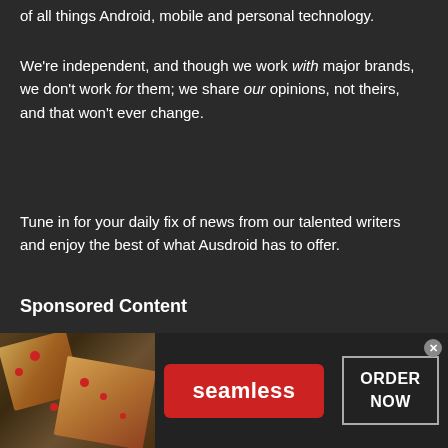of all things Android, mobile and personal technology.
We're independent, and though we work with major brands, we don't work for them; we share our opinions, not theirs, and that won't ever change.
Tune in for your daily fix of news from our talented writers and enjoy the best of what Ausdroid has to offer.
Sponsored Content
[Figure (infographic): Advertisement banner for Seamless food ordering service featuring pizza image on left, Seamless logo in center, and ORDER NOW button on right with close (x) button]